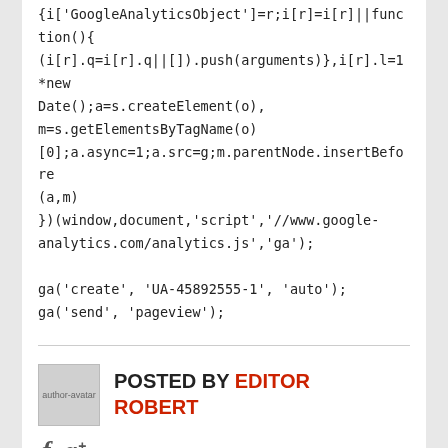{i['GoogleAnalyticsObject']=r;i[r]=i[r]||function(){(i[r].q=i[r].q||[]).push(arguments)},i[r].l=1*new Date();a=s.createElement(o),m=s.getElementsByTagName(o)[0];a.async=1;a.src=g;m.parentNode.insertBefore(a,m)})(window,document,'script','//www.google-analytics.com/analytics.js','ga');
ga('create', 'UA-45892555-1', 'auto');
ga('send', 'pageview');
POSTED BY EDITOR ROBERT
[Figure (illustration): Author avatar placeholder image]
Facebook and Google+ social icons
LIKE TO SHARE?
Tweet button, Like 0 button, Share button, scroll-to-top button